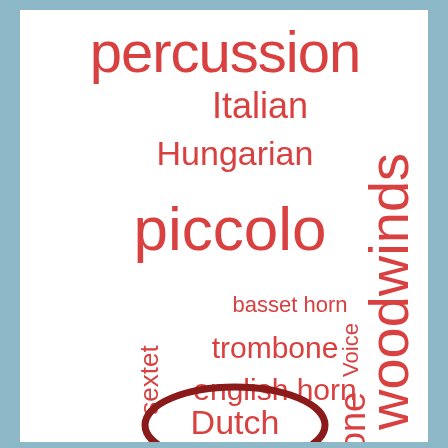[Figure (infographic): Word cloud featuring music-related terms in red/dark-red on white background. Words include: percussion (largest, top), Italian, Hungarian, piccolo (large), basset horn, trombone, Voice (rotated vertical), woodwinds (rotated vertical, large), sextet, english horn, phone (rotated vertical, partial), Dutch (circled with dark red oval border).]